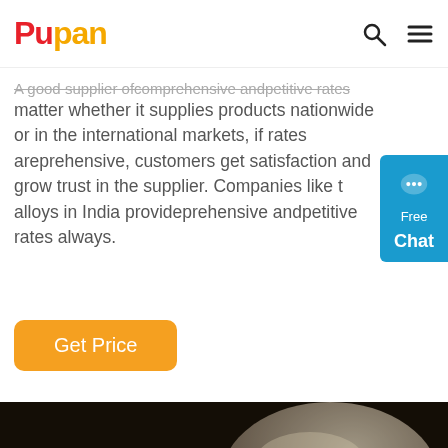Pupan
A good supplier ofcomprehensive andpetitive rates always. No matter whether it supplies products nationwide or in the international markets, if rates areprehensive, customers get satisfaction and grow trust in the supplier. Companies like alloys in India provideprehensive andpetitive rates always.
Get Price
[Figure (photo): Close-up photograph of dark mineral ore/alloy chunks or rocks, showing rough textured surfaces in browns and grays.]